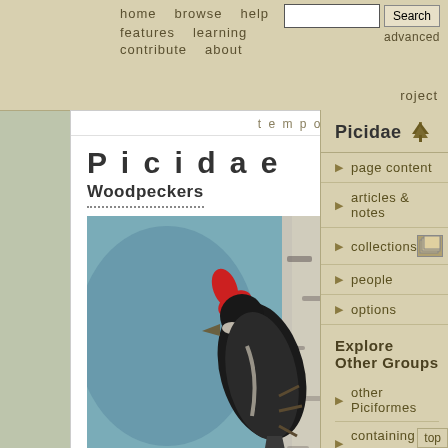home   browse   help   features   learning   contribute   about   advanced   roject
Picidae
Woodpeckers
[Figure (photo): A Pileated Woodpecker clinging to a birch tree trunk, showing its distinctive red crest and black-and-white plumage. Photo credit: ©2006 Vincent P.]
[Figure (photo): A Northern Flicker (woodpecker) standing on grass, showing its speckled brown plumage and red patch.]
Picidae
page content
articles & notes
collections
people
options
Explore Other Groups
other Piciformes
containing groups
subgroups
random page
top